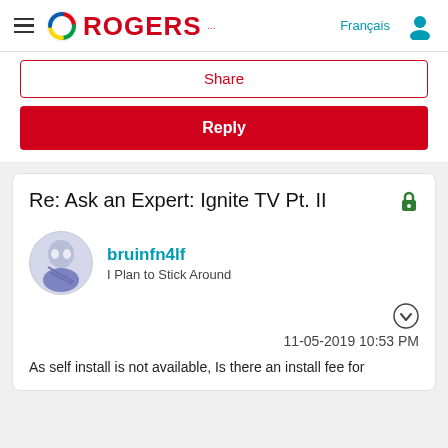Rogers — Français
Share
Reply
Re: Ask an Expert: Ignite TV Pt. II
bruinfn4lf
I Plan to Stick Around
11-05-2019 10:53 PM
As self install is not available, Is there an install fee for